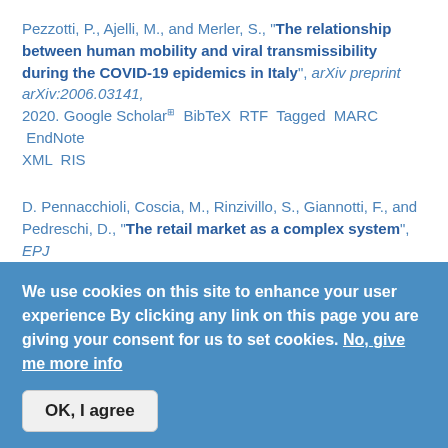Pezzotti, P., Ajelli, M., and Merler, S., "The relationship between human mobility and viral transmissibility during the COVID-19 epidemics in Italy", arXiv preprint arXiv:2006.03141, 2020. Google Scholar BibTeX RTF Tagged MARC EndNote XML RIS
D. Pennacchioli, Coscia, M., Rinzivillo, S., Giannotti, F., and Pedreschi, D., "The retail market as a complex system", EPJ Data Science, vol. 3, pp. 1-27, 2014. DOI Google Scholar BibTeX RTF Tagged MARC EndNote XML RIS
R. Guidotti, Monreale, A., Rinzivillo, S., Pedreschi, D., and Giannotti, F., "Retrieving Points of Interest from Human
We use cookies on this site to enhance your user experience By clicking any link on this page you are giving your consent for us to set cookies. No, give me more info
OK, I agree